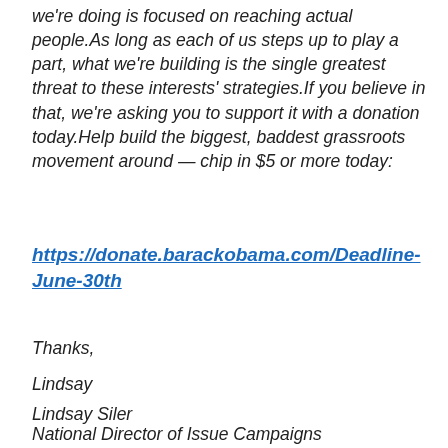we're doing is focused on reaching actual people.As long as each of us steps up to play a part, what we're building is the single greatest threat to these interests' strategies.If you believe in that, we're asking you to support it with a donation today.Help build the biggest, baddest grassroots movement around — chip in $5 or more today:
https://donate.barackobama.com/Deadline-June-30th
Thanks,
Lindsay
Lindsay Siler
National Director of Issue Campaigns
Organizing for Action